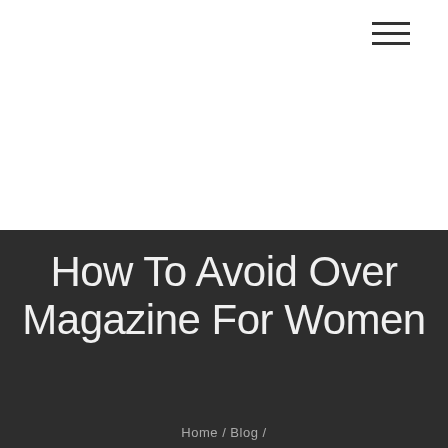[Figure (other): Hamburger menu icon with three horizontal lines in top right corner]
How To Avoid Over Magazine For Women
Home / Blog /